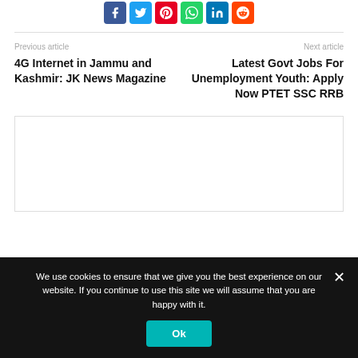[Figure (other): Social share buttons: Facebook (blue), Twitter (cyan), Pinterest (red), WhatsApp (green), LinkedIn (blue), Reddit (orange)]
Previous article
Next article
4G Internet in Jammu and Kashmir: JK News Magazine
Latest Govt Jobs For Unemployment Youth: Apply Now PTET SSC RRB
[Figure (other): Advertisement placeholder box with border]
We use cookies to ensure that we give you the best experience on our website. If you continue to use this site we will assume that you are happy with it.
Ok